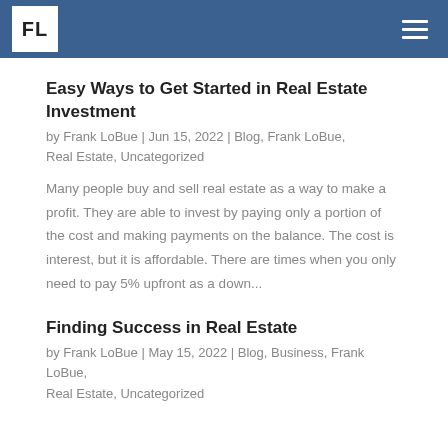FL
Easy Ways to Get Started in Real Estate Investment
by Frank LoBue | Jun 15, 2022 | Blog, Frank LoBue, Real Estate, Uncategorized
Many people buy and sell real estate as a way to make a profit. They are able to invest by paying only a portion of the cost and making payments on the balance. The cost is interest, but it is affordable. There are times when you only need to pay 5% upfront as a down...
Finding Success in Real Estate
by Frank LoBue | May 15, 2022 | Blog, Business, Frank LoBue, Real Estate, Uncategorized